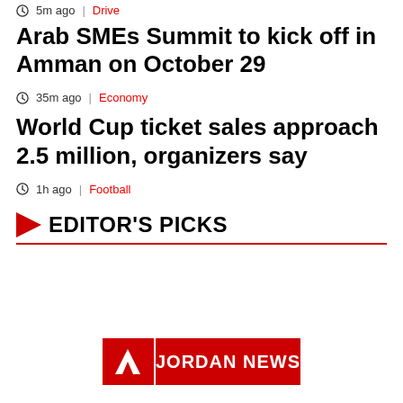5m ago | Drive
Arab SMEs Summit to kick off in Amman on October 29
35m ago | Economy
World Cup ticket sales approach 2.5 million, organizers say
1h ago | Football
EDITOR'S PICKS
[Figure (logo): Jordan News logo — red background with white N arrow icon on left and JORDAN NEWS text on right]